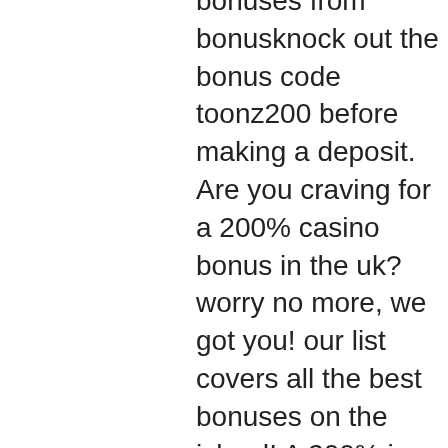bonuses from bonusknock out the bonus code toonz200 before making a deposit. Are you craving for a 200% casino bonus in the uk? worry no more, we got you! our list covers all the best bonuses on the island! A 200% is a bonus given by the casino that is worth 200% of the player's deposit. This means that if you deposit £150, the casino will give you an additional £. You will also gain access to the m life rewards loyalty program, which offers free bets and perks at famous casino resorts such as bellagio in. + 50% bonus up to €200. We want to make sure you have the best experience from your very first spin, so we've got an energycasino welcome bonus offer to. Below you find all our online casinos that offer 200% casino bonuses or more on your first deposit. We have done all the hard work for you - background checks. This is a gambling site delivering an array of video slots developed by the top. We look for the biggest deposit